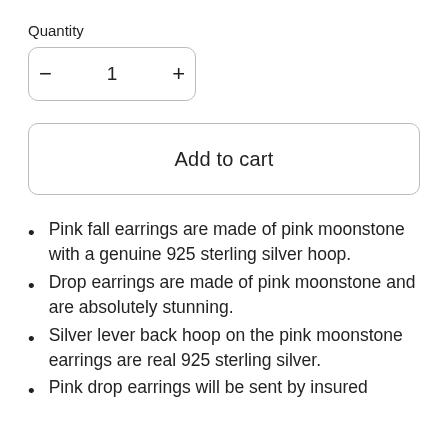Quantity
− 1 +
Add to cart
Pink fall earrings are made of pink moonstone with a genuine 925 sterling silver hoop.
Drop earrings are made of pink moonstone and are absolutely stunning.
Silver lever back hoop on the pink moonstone earrings are real 925 sterling silver.
Pink drop earrings will be sent by insured